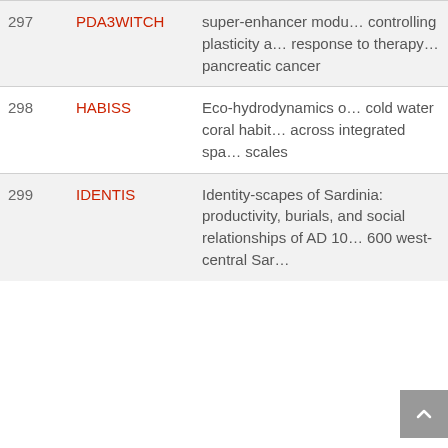| # | Acronym | Description |
| --- | --- | --- |
| 297 | PDA3WITCH | super-enhancer module controlling plasticity and response to therapy in pancreatic cancer |
| 298 | HABISS | Eco-hydrodynamics of cold water coral habitats across integrated spatial scales |
| 299 | IDENTIS | Identity-scapes of Sardinia: productivity, burials, and social relationships of AD 100-600 west-central Sardinia |